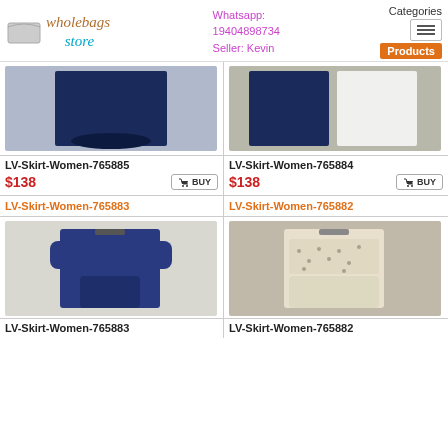wholebags store — Whatsapp: 19404898734 Seller: Kevin — Categories / Products
[Figure (photo): Product photo of LV-Skirt-Women-765885, a navy blue skirt on a hanger]
LV-Skirt-Women-765885
$138
[Figure (photo): Product photo of LV-Skirt-Women-765884, a navy blue and white skirt side by side on hangers]
LV-Skirt-Women-765884
$138
LV-Skirt-Women-765883
[Figure (photo): Product photo of LV-Skirt-Women-765883, a navy blue short-sleeve dress with ruffled sleeves]
LV-Skirt-Women-765883
LV-Skirt-Women-765882
[Figure (photo): Product photo of LV-Skirt-Women-765882, a cream/white short-sleeve dress with small pattern]
LV-Skirt-Women-765882